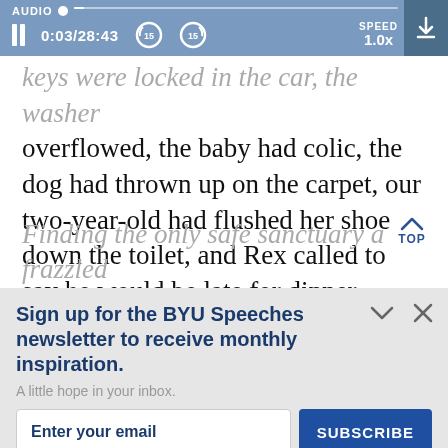AUDIO | 0:03/28:43 | SPEED 1.0x
keys were locked in the car, the washer overflowed, the baby had colic, the dog had thrown up on the carpet, our two-year-old had flushed her shoe down the toilet, and Rex called to say he would be late for dinner. Finding the only safe sanctuary a frazzled
Sign up for the BYU Speeches newsletter to receive monthly inspiration.
A little hope in your inbox.
Enter your email
SUBSCRIBE